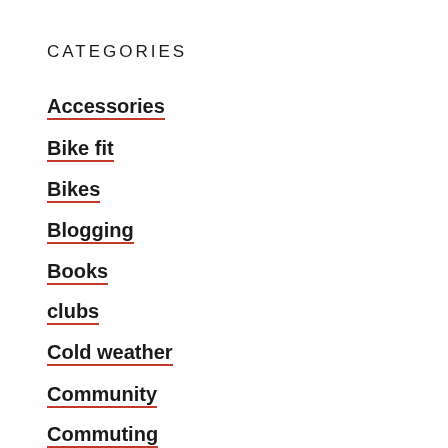CATEGORIES
Accessories
Bike fit
Bikes
Blogging
Books
clubs
Cold weather
Community
Commuting
Components